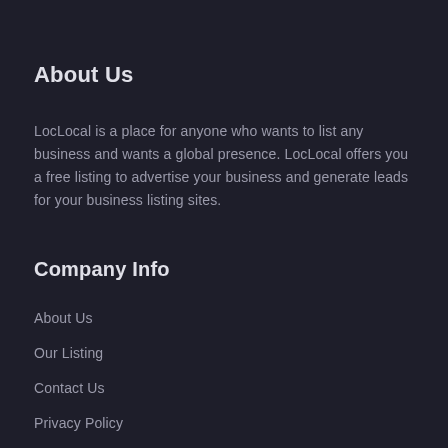About Us
LocLocal is a place for anyone who wants to list any business and wants a global presence. LocLocal offers you a free listing to advertise your business and generate leads for your business listing sites.
Company Info
About Us
Our Listing
Contact Us
Privacy Policy